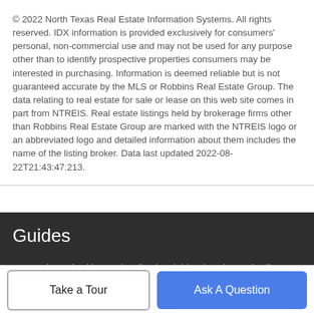© 2022 North Texas Real Estate Information Systems. All rights reserved. IDX information is provided exclusively for consumers' personal, non-commercial use and may not be used for any purpose other than to identify prospective properties consumers may be interested in purchasing. Information is deemed reliable but is not guaranteed accurate by the MLS or Robbins Real Estate Group. The data relating to real estate for sale or lease on this web site comes in part from NTREIS. Real estate listings held by brokerage firms other than Robbins Real Estate Group are marked with the NTREIS logo or an abbreviated logo and detailed information about them includes the name of the listing broker. Data last updated 2022-08-22T21:43:47.213.
Guides
Homes in Park Cities and Dallas in Highland Park ISD (Dallas, University Park and Highland Park)